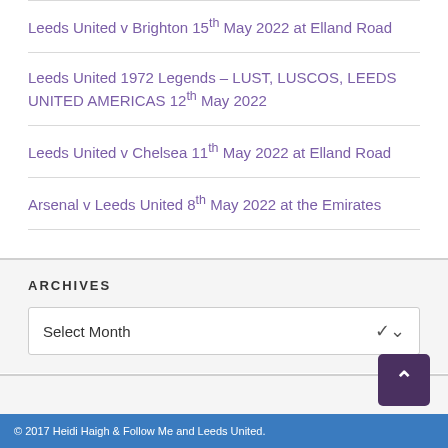Leeds United v Brighton 15th May 2022 at Elland Road
Leeds United 1972 Legends – LUST, LUSCOS, LEEDS UNITED AMERICAS 12th May 2022
Leeds United v Chelsea 11th May 2022 at Elland Road
Arsenal v Leeds United 8th May 2022 at the Emirates
ARCHIVES
Select Month
© 2017 Heidi Haigh & Follow Me and Leeds United.